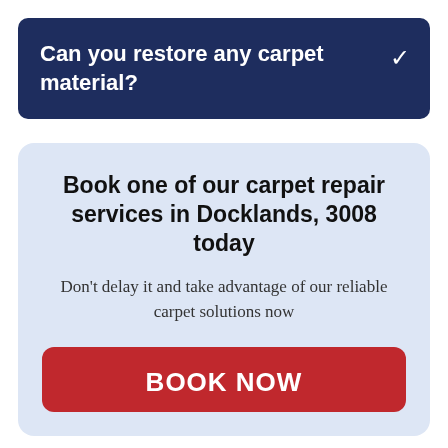Can you restore any carpet material?
Book one of our carpet repair services in Docklands, 3008 today
Don't delay it and take advantage of our reliable carpet solutions now
BOOK NOW